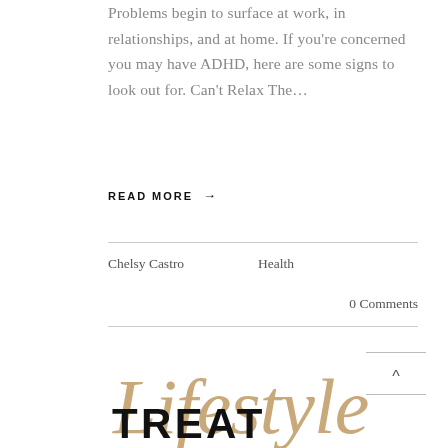Problems begin to surface at work, in relationships, and at home. If you're concerned you may have ADHD, here are some signs to look out for. Can't Relax The…
READ MORE →
Chelsy Castro    Health
0 Comments
[Figure (illustration): Decorative script text reading 'Lifestyle' in golden/tan cursive script overlaid with bold uppercase text 'TREAT']